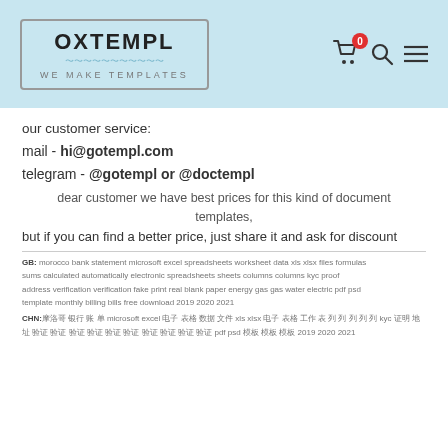[Figure (logo): OXTEMPL logo with tagline 'WE MAKE TEMPLATES' in a bordered box on light blue background, with cart, search, and menu icons on the right]
our customer service:
mail - hi@gotempl.com
telegram - @gotempl or @doctempl
dear customer we have best prices for this kind of document templates,
but if you can find a better price, just share it and ask for discount
GB: morocco bank statement microsoft excel spreadsheets worksheet data xls xlsx files formulas sums calculated automatically electronic spreadsheets sheets columns columns kyc proof address verification verification fake print real blank paper energy gas gas water electric pdf psd template monthly billing bills free download 2019 2020 2021
CHN: 摩洛哥 银行 账单 microsoft excel 电子 表格 数据 xls xlsx 电子 表格 工作 表 列 列 kyc 证明 地址 验证 验证 pdf psd 2019 2020 2021